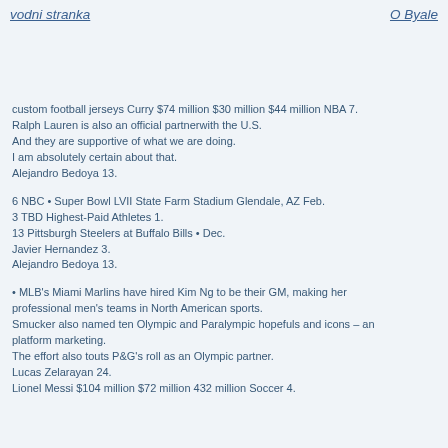vodni stranka   O Byale
custom football jerseys Curry $74 million $30 million $44 million NBA 7.
Ralph Lauren is also an official partnerwith the U.S.
And they are supportive of what we are doing.
I am absolutely certain about that.
Alejandro Bedoya 13.
6 NBC • Super Bowl LVII State Farm Stadium Glendale, AZ Feb.
3 TBD Highest-Paid Athletes 1.
13 Pittsburgh Steelers at Buffalo Bills • Dec.
Javier Hernandez 3.
Alejandro Bedoya 13.
• MLB's Miami Marlins have hired Kim Ng to be their GM, making her professional men's teams in North American sports.
Smucker also named ten Olympic and Paralympic hopefuls and icons – and platform marketing.
The effort also touts P&G's roll as an Olympic partner.
Lucas Zelarayan 24.
Lionel Messi $104 million $72 million 432 million Soccer 4.